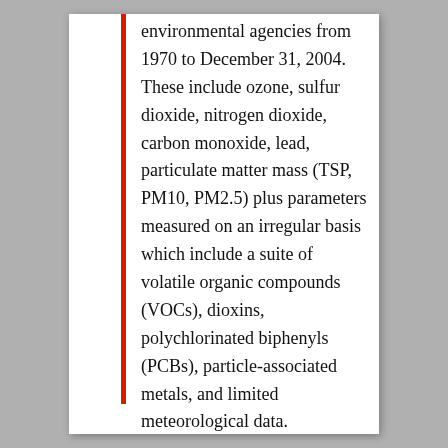environmental agencies from 1970 to December 31, 2004. These include ozone, sulfur dioxide, nitrogen dioxide, carbon monoxide, lead, particulate matter mass (TSP, PM10, PM2.5) plus parameters measured on an irregular basis which include a suite of volatile organic compounds (VOCs), dioxins, polychlorinated biphenyls (PCBs), particle-associated metals, and limited meteorological data.